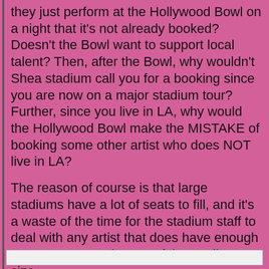they just perform at the Hollywood Bowl on a night that it's not already booked? Doesn't the Bowl want to support local talent? Then, after the Bowl, why wouldn't Shea stadium call you for a booking since you are now on a major stadium tour? Further, since you live in LA, why would the Hollywood Bowl make the MISTAKE of booking some other artist who does NOT live in LA?
The reason of course is that large stadiums have a lot of seats to fill, and it's a waste of the time for the stadium staff to deal with any artist that does have enough awareness to make use of the stadium's size.